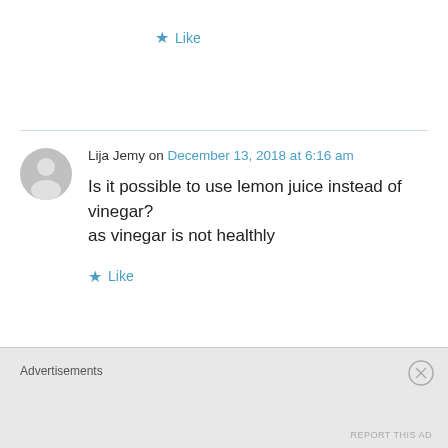★ Like
Lija Jemy on December 13, 2018 at 6:16 am
Is it possible to use lemon juice instead of vinegar?
as vinegar is not healthly
★ Like
Snap Trooper on December 24, 2018 at 7:14 am
I started watching Chechi's video to learn
Advertisements